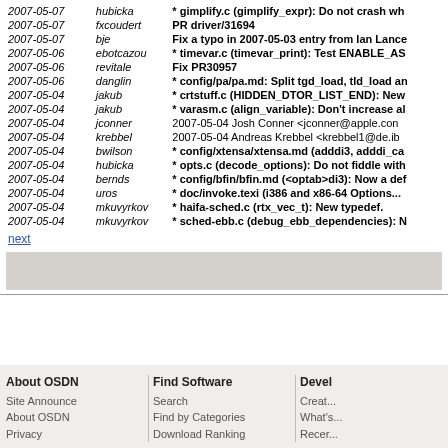| Date | User | Message |
| --- | --- | --- |
| 2007-05-07 | hubicka | * gimplify.c (gimplify_expr): Do not crash wh... |
| 2007-05-07 | fxcoudert | PR driver/31694 |
| 2007-05-07 | bje | Fix a typo in 2007-05-03 entry from Ian Lance... |
| 2007-05-06 | ebotcazou | * timevar.c (timevar_print): Test ENABLE_AS... |
| 2007-05-06 | revitale | Fix PR30957 |
| 2007-05-06 | danglin | * config/pa/pa.md: Split tgd_load, tld_load an... |
| 2007-05-04 | jakub | * crtstuff.c (HIDDEN_DTOR_LIST_END): New... |
| 2007-05-04 | jakub | * varasm.c (align_variable): Don't increase al... |
| 2007-05-04 | jconner | 2007-05-04 Josh Conner <jconner@apple.con... |
| 2007-05-04 | krebbel | 2007-05-04 Andreas Krebbel <krebbel1@de.ib... |
| 2007-05-04 | bwilson | * config/xtensa/xtensa.md (adddi3, adddi_ca... |
| 2007-05-04 | hubicka | * opts.c (decode_options): Do not fiddle with... |
| 2007-05-04 | bernds | * config/bfin/bfin.md (<optab>di3): Now a def... |
| 2007-05-04 | uros | * doc/invoke.texi (i386 and x86-64 Options... |
| 2007-05-04 | mkuvyrkov | * haifa-sched.c (rtx_vec_t): New typedef. |
| 2007-05-04 | mkuvyrkov | * sched-ebb.c (debug_ebb_dependencies): N... |
next
About OSDN | Find Software | Devel